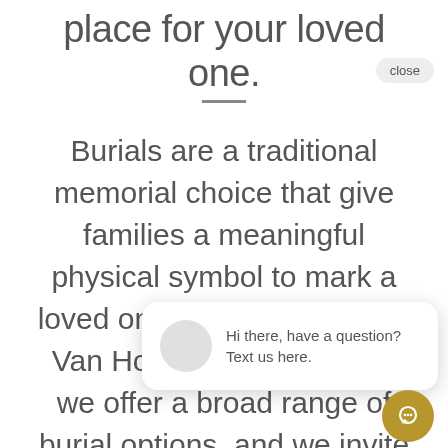place for your loved one.
Burials are a traditional memorial choice that give families a meaningful physical symbol to mark a loved one's resting place. At Van House, Sunset Home we offer a broad range of burial options, and we invite you to read about all that's possible. We're here to